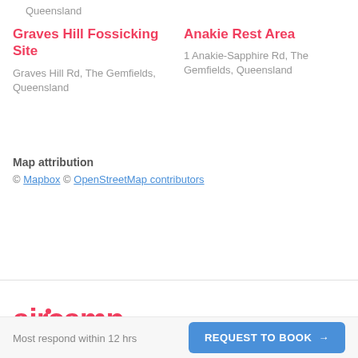Queensland
Graves Hill Fossicking Site
Graves Hill Rd, The Gemfields, Queensland
Anakie Rest Area
1 Anakie-Sapphire Rd, The Gemfields, Queensland
Map attribution
© Mapbox © OpenStreetMap contributors
[Figure (logo): aircamp logo in red/pink bold text]
Most respond within 12 hrs
REQUEST TO BOOK →